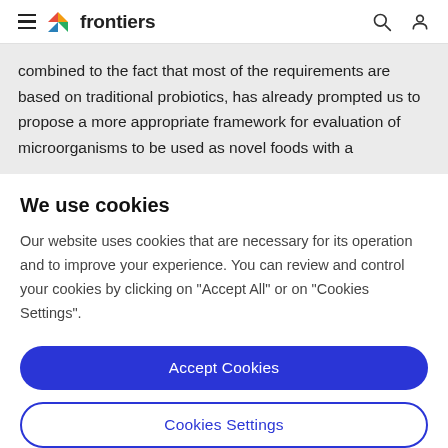frontiers
combined to the fact that most of the requirements are based on traditional probiotics, has already prompted us to propose a more appropriate framework for evaluation of microorganisms to be used as novel foods with a
We use cookies
Our website uses cookies that are necessary for its operation and to improve your experience. You can review and control your cookies by clicking on "Accept All" or on "Cookies Settings".
Accept Cookies
Cookies Settings